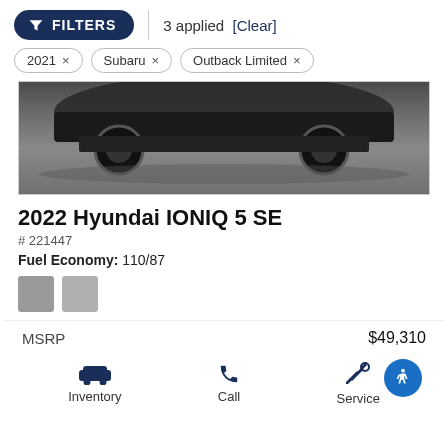FILTERS | 3 applied [Clear]
2021 ×  Subaru ×  Outback Limited ×
[Figure (photo): Partial view of a dark car (undercarriage/wheel area visible) against a grey asphalt background]
2022 Hyundai IONIQ 5 SE
# 221447
Fuel Economy: 110/87
MSRP  $49,310
Inventory   Call   Service